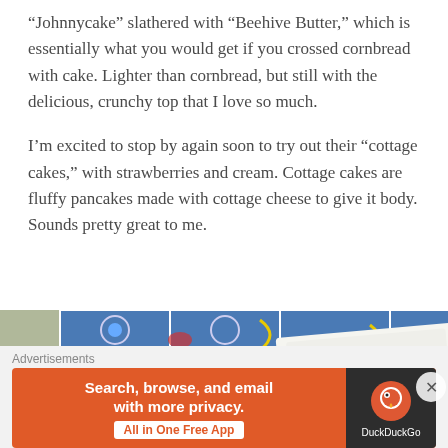“Johnnycake” slathered with “Beehive Butter,” which is essentially what you would get if you crossed cornbread with cake. Lighter than cornbread, but still with the delicious, crunchy top that I love so much.
I’m excited to stop by again soon to try out their “cottage cakes,” with strawberries and cream. Cottage cakes are fluffy pancakes made with cottage cheese to give it body. Sounds pretty great to me.
[Figure (photo): Photo of a decorative plate with blue, red, and yellow tile pattern visible above, and what appears to be a dish with food (possibly cake or bread) and a fork wrapped in a white napkin.]
Advertisements
[Figure (infographic): DuckDuckGo advertisement banner in orange with text: Search, browse, and email with more privacy. All in One Free App. DuckDuckGo logo on dark right side.]